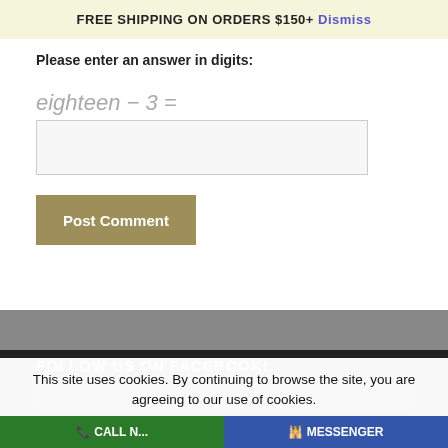FREE SHIPPING ON ORDERS $150+ Dismiss
Please enter an answer in digits:
Post Comment
FOLLOW US ON FACEBOOK!
This site uses cookies. By continuing to browse the site, you are agreeing to our use of cookies.
OK   Learn more
CALL NOW   MESSENGER